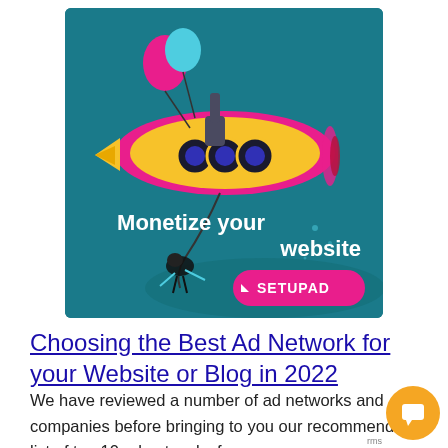[Figure (illustration): Setupad advertisement banner with teal/dark cyan background showing a colorful steampunk submarine with a diver, balloons, text 'Monetize your website' and a pink rounded button with 'SETUPAD' logo]
Choosing the Best Ad Network for your Website or Blog in 2022
We have reviewed a number of ad networks and companies before bringing to you our recommended list of top 10 ad networks for